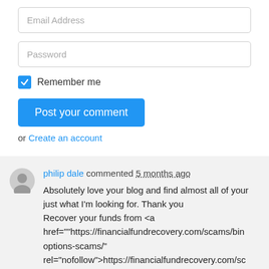Email Address
Password
Remember me
Post your comment
or Create an account
philip dale commented 5 months ago
Absolutely love your blog and find almost all of your just what I'm looking for. Thank you
Recover your funds from <a href=""https://financialfundrecovery.com/scams/binary-options-scams/" rel="nofollow">https://financialfundrecovery.com/scams/binary-options-scams/">Binary Options Scam</a>. Get help of experts will recover your money back